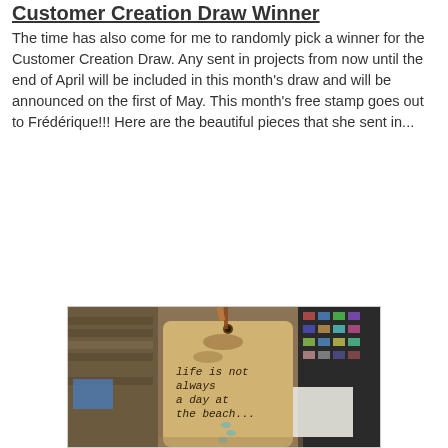Customer Creation Draw Winner
The time has also come for me to randomly pick a winner for the Customer Creation Draw. Any sent in projects from now until the end of April will be included in this month's draw and will be announced on the first of May. This month's free stamp goes out to Frédérique!!! Here are the beautiful pieces that she sent in...
[Figure (photo): A handmade stamped tag with aged/distressed look, featuring the text 'life is not always a day at the beach...' with illustrated shells/pebbles going down the tag. A patterned ribbon is tied at the top. The background shows a craft workspace with ink pads and supplies.]